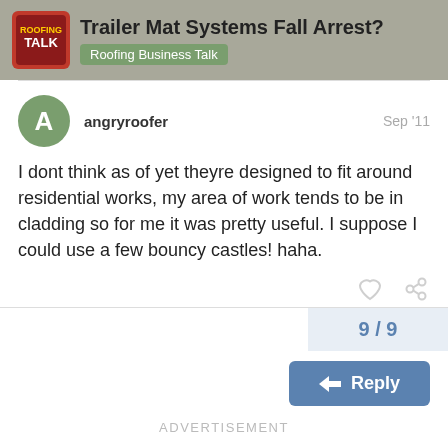Trailer Mat Systems Fall Arrest? Roofing Business Talk
angryroofer
Sep '11
I dont think as of yet theyre designed to fit around residential works, my area of work tends to be in cladding so for me it was pretty useful. I suppose I could use a few bouncy castles! haha.
9 / 9
Reply
ADVERTISEMENT